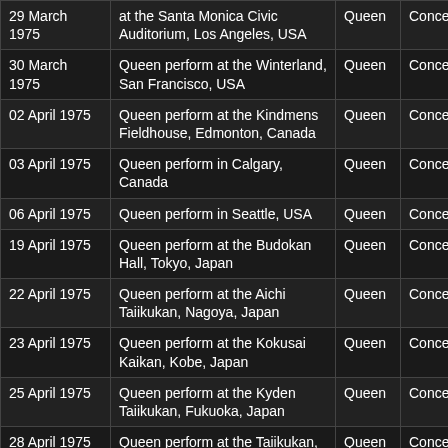| Date | Event | Artist | Type |
| --- | --- | --- | --- |
| 29 March 1975 | at the Santa Monica Civic Auditorium, Los Angeles, USA | Queen | Concert |
| 30 March 1975 | Queen perform at the Winterland, San Francisco, USA | Queen | Concert |
| 02 April 1975 | Queen perform at the Kindmens Fieldhouse, Edmonton, Canada | Queen | Concert |
| 03 April 1975 | Queen perform in Calgary, Canada | Queen | Concert |
| 06 April 1975 | Queen perform in Seattle, USA | Queen | Concert |
| 19 April 1975 | Queen perform at the Budokan Hall, Tokyo, Japan | Queen | Concert |
| 22 April 1975 | Queen perform at the Aichi Taiikukan, Nagoya, Japan | Queen | Concert |
| 23 April 1975 | Queen perform at the Kokusai Kaikan, Kobe, Japan | Queen | Concert |
| 25 April 1975 | Queen perform at the Kyden Taiikukan, Fukuoka, Japan | Queen | Concert |
| 28 April 1975 | Queen perform at the Taiikukan, Okayama, Japan | Queen | Concert |
| 30 April 1975 (partial) | Queen perform at the | Queen | Concert |